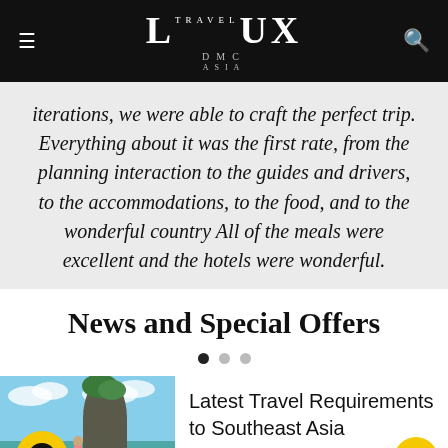LUX TRAVEL DMC ASIA
iterations, we were able to craft the perfect trip. Everything about it was the first rate, from the planning interaction to the guides and drivers, to the accommodations, to the food, and to the wonderful country All of the meals were excellent and the hotels were wonderful.
News and Special Offers
Latest Travel Requirements to Southeast Asia